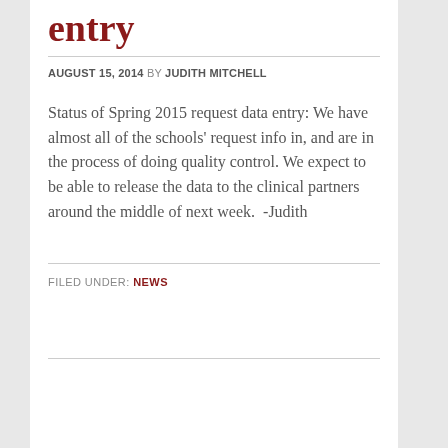entry
AUGUST 15, 2014 BY JUDITH MITCHELL
Status of Spring 2015 request data entry: We have almost all of the schools' request info in, and are in the process of doing quality control. We expect to be able to release the data to the clinical partners around the middle of next week.  -Judith
FILED UNDER: NEWS